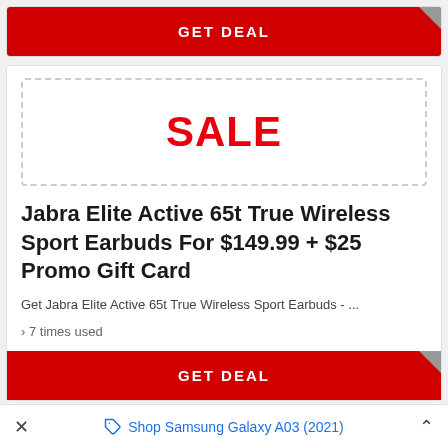[Figure (other): Red GET DEAL button with grey corner notch at top of page]
[Figure (other): Dashed border box containing bold red SALE text]
Jabra Elite Active 65t True Wireless Sport Earbuds For $149.99 + $25 Promo Gift Card
Get Jabra Elite Active 65t True Wireless Sport Earbuds - ...
7 times used
[Figure (other): Red GET DEAL button with grey corner notch]
Shop Samsung Galaxy A03 (2021)